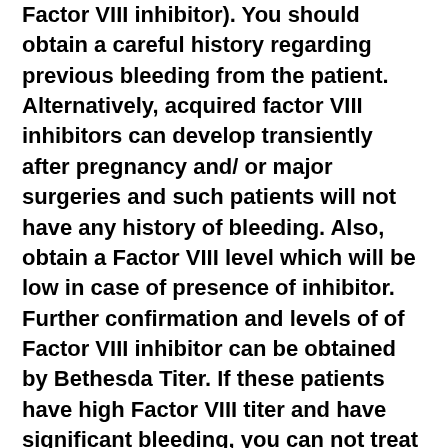Factor VIII inhibitor). You should obtain a careful history regarding previous bleeding from the patient. Alternatively, acquired factor VIII inhibitors can develop transiently after pregnancy and/ or major surgeries and such patients will not have any history of bleeding. Also, obtain a Factor VIII level which will be low in case of presence of inhibitor. Further confirmation and levels of of Factor VIII inhibitor can be obtained by Bethesda Titer. If these patients have high Factor VIII titer and have significant bleeding, you can not treat them with Factor VIII replacement because remember the inhibitor is an antibody and giving factor viii may further induce antibody response and can be threatening. If significant titers of Factor VIII inhibitor are present and if the patient is bleeding , you must use FEBA ( Factor EIGHT BYPASS ACTIVITY)... Factor VIII titer at this estimation present